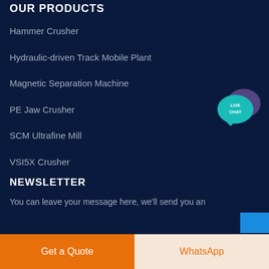OUR PRODUCTS
Hammer Crusher
Hydraulic-driven Track Mobile Plant
Magnetic Separation Machine
PE Jaw Crusher
SCM Ultrafine Mill
VSI5X Crusher
[Figure (illustration): Live Chat speech bubble icon with purple color and teal/cyan foreground bubble labeled LIVE CHAT]
NEWSLETTER
You can leave your message here, we'll send you an
Get a Quote
WhatsApp